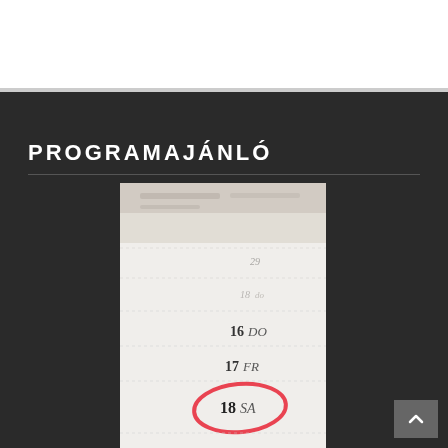PROGRAMAJÁNLÓ
[Figure (photo): A close-up photo of a paper calendar showing dates 16 DO, 17 FR, and 18 SA, with the number 18 circled in red marker.]